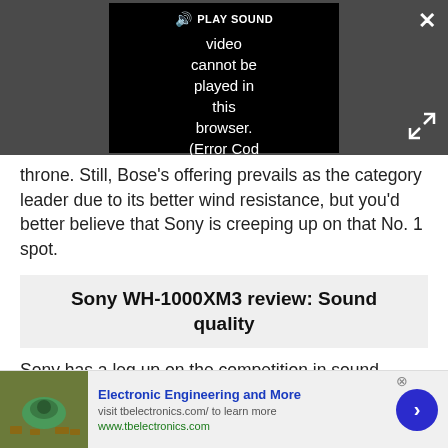[Figure (screenshot): Video player overlay on dark gray background showing a black video panel with 'PLAY SOUND' bar and error message 'Video cannot be played in this browser. (Error Cod' in white text. White X close button top right, expand arrows icon bottom right.]
throne. Still, Bose's offering prevails as the category leader due to its better wind resistance, but you'd better believe that Sony is creeping up on that No. 1 spot.
Sony WH-1000XM3 review: Sound quality
Sony has a leg up on the competition in sound quality, and the WH-1000XM3 is living proof. A
[Figure (screenshot): Advertisement banner for 'Electronic Engineering and More' with thumbnail image, blue title text, visit URL text, green www.tbelectronics.com link, and blue circular arrow button.]